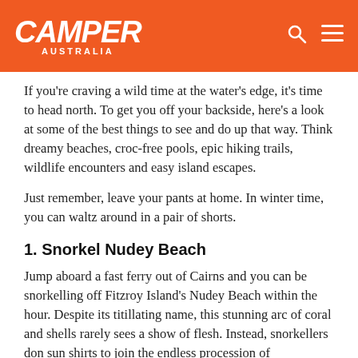CAMPER AUSTRALIA
If you're craving a wild time at the water's edge, it's time to head north. To get you off your backside, here's a look at some of the best things to see and do up that way. Think dreamy beaches, croc-free pools, epic hiking trails, wildlife encounters and easy island escapes.
Just remember, leave your pants at home. In winter time, you can waltz around in a pair of shorts.
1. Snorkel Nudey Beach
Jump aboard a fast ferry out of Cairns and you can be snorkelling off Fitzroy Island's Nudey Beach within the hour. Despite its titillating name, this stunning arc of coral and shells rarely sees a show of flesh. Instead, snorkellers don sun shirts to join the endless procession of luminescent fish, gliding over great coral bombies with green sea turtles and harmless reef